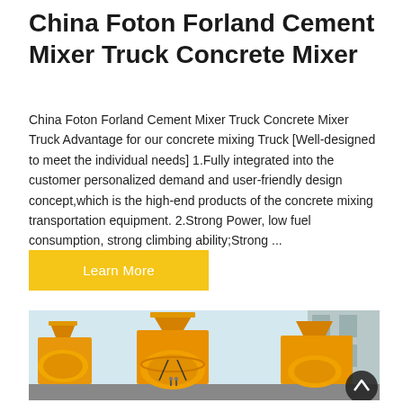China Foton Forland Cement Mixer Truck Concrete Mixer
China Foton Forland Cement Mixer Truck Concrete Mixer Truck Advantage for our concrete mixing Truck [Well-designed to meet the individual needs] 1.Fully integrated into the customer personalized demand and user-friendly design concept,which is the high-end products of the concrete mixing transportation equipment. 2.Strong Power, low fuel consumption, strong climbing ability;Strong ...
Learn More
[Figure (photo): Yellow cement mixer trucks (concrete mixers) parked in a row, showing the drum and hopper sections in bright yellow/orange color, industrial facility in background]